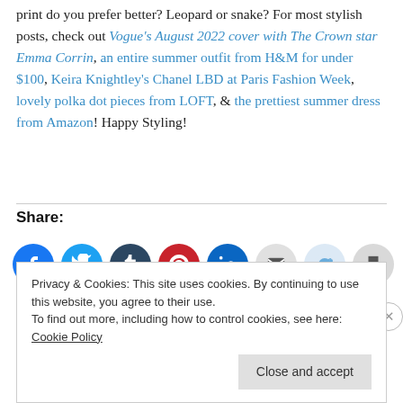print do you prefer better? Leopard or snake? For most stylish posts, check out Vogue's August 2022 cover with The Crown star Emma Corrin, an entire summer outfit from H&M for under $100, Keira Knightley's Chanel LBD at Paris Fashion Week, lovely polka dot pieces from LOFT, & the prettiest summer dress from Amazon! Happy Styling!
Share:
[Figure (infographic): Social sharing icons: Facebook, Twitter, Tumblr, Pinterest, LinkedIn, Email, Reddit, Print]
Privacy & Cookies: This site uses cookies. By continuing to use this website, you agree to their use. To find out more, including how to control cookies, see here: Cookie Policy